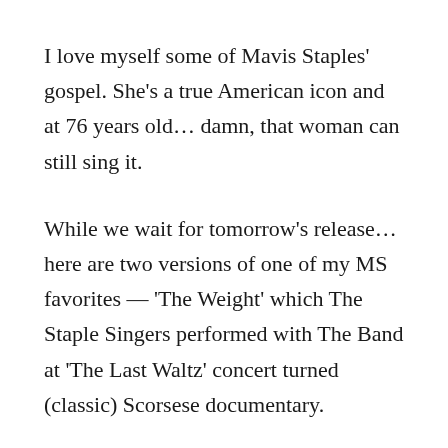I love myself some of Mavis Staples' gospel. She's a true American icon and at 76 years old… damn, that woman can still sing it.
While we wait for tomorrow's release… here are two versions of one of my MS favorites — 'The Weight' which The Staple Singers performed with The Band at 'The Last Waltz' concert turned (classic) Scorsese documentary.